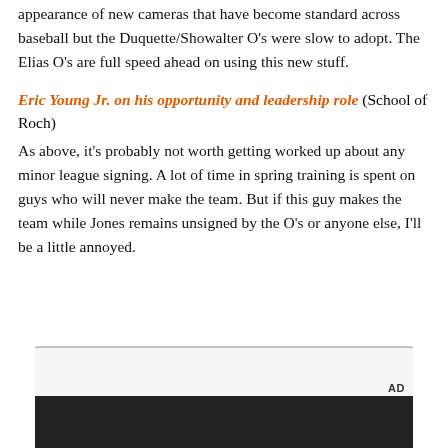appearance of new cameras that have become standard across baseball but the Duquette/Showalter O's were slow to adopt. The Elias O's are full speed ahead on using this new stuff.
Eric Young Jr. on his opportunity and leadership role (School of Roch)
As above, it's probably not worth getting worked up about any minor league signing. A lot of time in spring training is spent on guys who will never make the team. But if this guy makes the team while Jones remains unsigned by the O's or anyone else, I'll be a little annoyed.
[Figure (other): Advertisement placeholder box with 'AD' label and dark image strip at bottom]